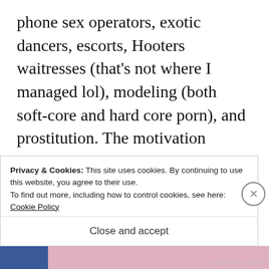phone sex operators, exotic dancers, escorts, Hooters waitresses (that's not where I managed lol), modeling (both soft-core and hard core porn), and prostitution. The motivation behind the involvement is almost invariably money. I have overheard these women brag about how much they made doing this or that, or how they paid off all their
Privacy & Cookies: This site uses cookies. By continuing to use this website, you agree to their use.
To find out more, including how to control cookies, see here:
Cookie Policy
Close and accept